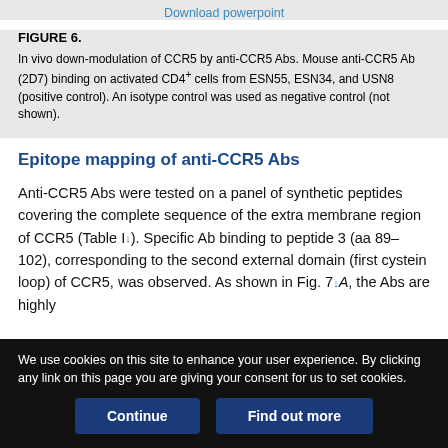Download powerpoint
FIGURE 6. In vivo down-modulation of CCR5 by anti-CCR5 Abs. Mouse anti-CCR5 Ab (2D7) binding on activated CD4+ cells from ESN55, ESN34, and USN8 (positive control). An isotype control was used as negative control (not shown).
Epitope mapping of anti-CCR5 Abs
Anti-CCR5 Abs were tested on a panel of synthetic peptides covering the complete sequence of the extra membrane region of CCR5 (Table I↓). Specific Ab binding to peptide 3 (aa 89–102), corresponding to the second external domain (first cystein loop) of CCR5, was observed. As shown in Fig. 7↓A, the Abs are highly
We use cookies on this site to enhance your user experience. By clicking any link on this page you are giving your consent for us to set cookies.
Continue
Find out more